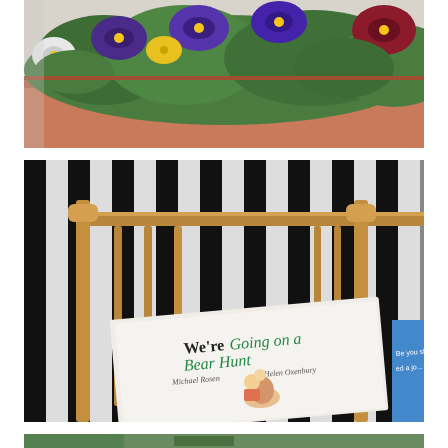[Figure (photo): Close-up photograph of a window box planter filled with purple, yellow, white, and dark red/maroon pansy flowers with green foliage. The planter is terracotta/salmon colored. Background is white.]
[Figure (photo): Photograph of the children's book 'We're Going on a Bear Hunt' by Michael Rosen and Helen Oxenbury, placed on a black and white striped deck chair with wooden frame. The book cover shows illustrated characters. Partially visible blue sign on the right edge.]
[Figure (photo): Partially visible third photograph at the bottom of the page, cropped.]